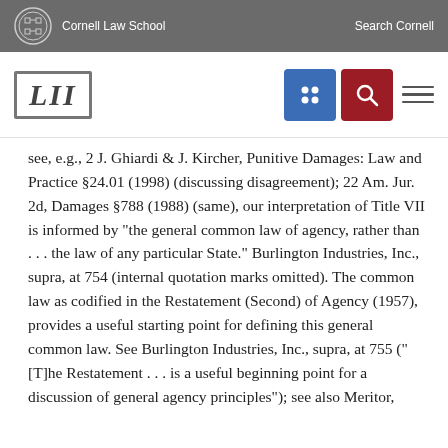Cornell Law School | Search Cornell
[Figure (logo): LII Legal Information Institute logo with Cornell seal and navigation icons]
see, e.g., 2 J. Ghiardi & J. Kircher, Punitive Damages: Law and Practice §24.01 (1998) (discussing disagreement); 22 Am. Jur. 2d, Damages §788 (1988) (same), our interpretation of Title VII is informed by "the general common law of agency, rather than . . . the law of any particular State." Burlington Industries, Inc., supra, at 754 (internal quotation marks omitted). The common law as codified in the Restatement (Second) of Agency (1957), provides a useful starting point for defining this general common law. See Burlington Industries, Inc., supra, at 755 ("[T]he Restatement . . . is a useful beginning point for a discussion of general agency principles"); see also Meritor,